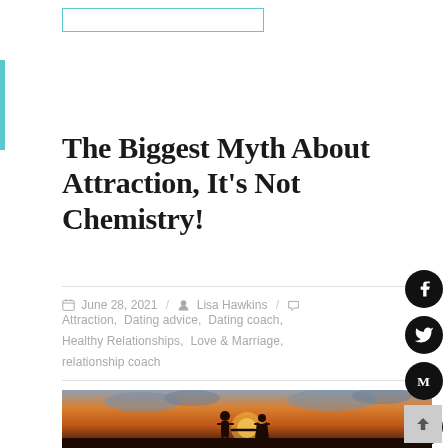The Biggest Myth About Attraction, It's Not Chemistry!
June 28, 2021 / Lisa Hawkins /
Attraction, Dating advice, Dating coach, Healthy Relationships, Love & Marriage, relationship coach
[Figure (photo): Silhouette of a couple holding hands against a sunset sky with warm orange and golden tones and dramatic clouds]